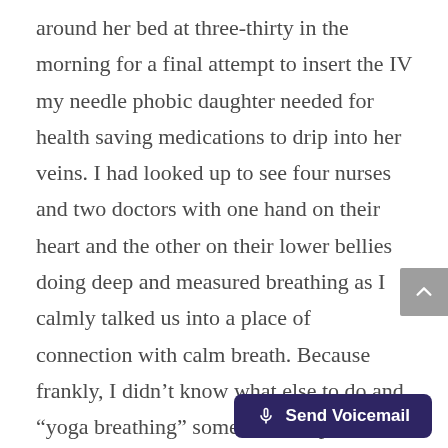around her bed at three-thirty in the morning for a final attempt to insert the IV my needle phobic daughter needed for health saving medications to drip into her veins. I had looked up to see four nurses and two doctors with one hand on their heart and the other on their lower bellies doing deep and measured breathing as I calmly talked us into a place of connection with calm breath. Because frankly, I didn't know what else to do and “yoga breathing” sometimes helps Lala feel less frightened.